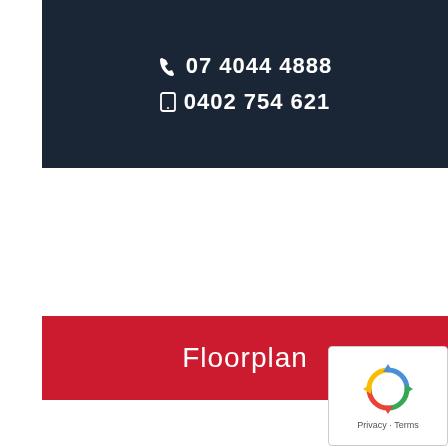[Figure (photo): Dark background photo (person in dark suit) with white contact numbers overlay: phone 07 4044 4888 and mobile 0402 754 621]
07 4044 4888
0402 754 621
Floorplan
[Figure (logo): Google reCAPTCHA badge with spinning arrows logo and Privacy - Terms text]